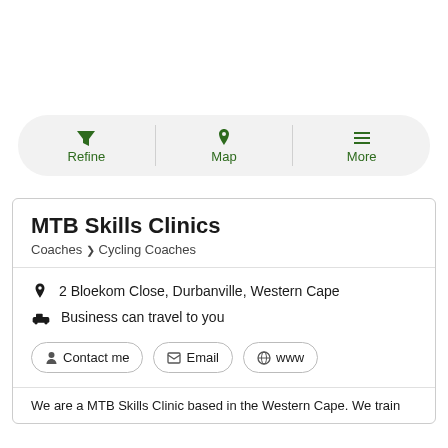[Figure (screenshot): Navigation toolbar with three buttons: Refine (filter icon), Map (location pin icon), More (hamburger menu icon), displayed on a gray pill-shaped background.]
MTB Skills Clinics
Coaches > Cycling Coaches
2 Bloekom Close, Durbanville, Western Cape
Business can travel to you
Contact me   Email   www
We are a MTB Skills Clinic based in the Western Cape. We train